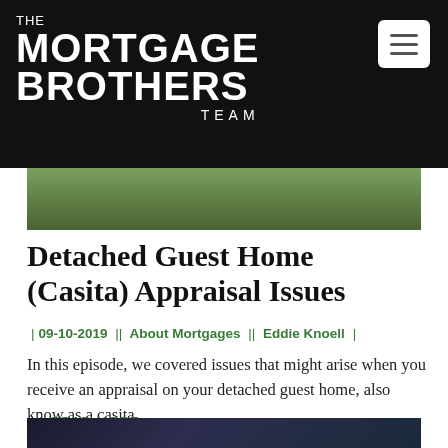THE MORTGAGE BROTHERS TEAM
[Figure (photo): Aerial/landscape photo of a neighborhood with palm trees]
Detached Guest Home (Casita) Appraisal Issues
09-10-2019 || About Mortgages || Eddie Knoell
In this episode, we covered issues that might arise when you receive an appraisal on your detached guest home, also know as a casita.
READ MORE
[Figure (photo): Screenshot of a laptop or computer screen]